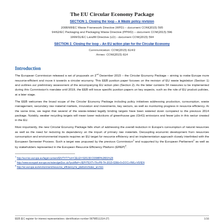The EU Circular Economy Package
SECTION 1. Closing the loop – A Waste policy revision
2008/98/EC Waste Framework Directive (WFD) – document COM(2015) 595
94/62/EC Packaging and Packaging Waste Directive (PPWD) – document COM(2015) 596
1999/31/EC Landfill Directive (LD) - document COM(2015) 594
SECTION 2. Closing the loop – An EU action plan for the Circular Economy
Communication: COM(2015) 614/2
Annex: COM(2015) 614
Introduction
The European Commission released a set of proposals on 2nd December 2015 – the Circular Economy Package – aiming to make Europe more resource-efficient and move it towards a circular economy. This EEB position paper focuses on the revision of EU waste legislation (Section 1) and outlines our preliminary assessment of the accompanying EU action plan (Section 2). As the latter contains 54 measures to be implemented during this Commission's mandate until 2019, the EEB will issue specific position papers on key aspects, such as the role of EU product policies, at a later stage.
The EEB welcomes the broad scope of the Circular Economy Package including policy initiatives addressing production, consumption, waste management, secondary raw material markets, innovation and investments, key sectors, as well as monitoring progress in resource efficiency. At the same time, we regret that several of the waste-related legally binding targets have been watered down compared to the previous 2014 package. Notably, weaker recycling targets will mean lower reductions of greenhouse gas (GHG) emissions and fewer jobs in this sector created in the EU.
Most importantly, the new Circular Economy Package falls short of addressing the overall reduction in Europe's consumption of natural resources as well as the need for reducing its dependency on the import of primary raw materials. Decoupling economic development from resources consumption and environmental impacts requires an EU target for resource efficiency and an implementation approach closely interlinked with the European Semester Process. Such a target was proposed by the previous Commission1 and supported by the European Parliament2 as well as by stakeholders represented in the European Resource Efficiency Platform (EREP)3.
1 http://eur-lex.europa.eu/legal-content/EN/TXT/?uri=CELEX:52013DC0398R%2801%29
2 http://www.europarl.europa.eu/sides/getDoc.do?pubRef=-//EP//TEXT+TA+P8-TA-2015-0266+0+DOC+XML+V0//EN
3 http://ec.europa.eu/environment/resource_efficiency/re_platform/index_en.htm
EEB (EC register for interest representatives: identification number 06798511314-27)                    1/16